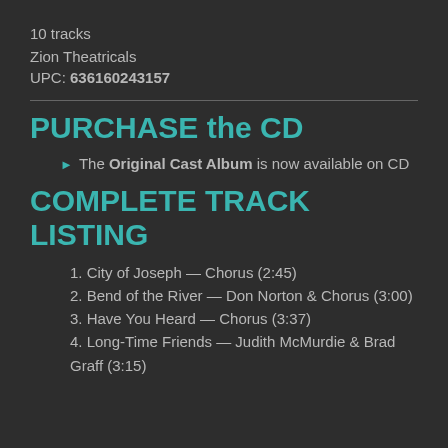10 tracks
Zion Theatricals
UPC: 636160243157
PURCHASE the CD
The Original Cast Album is now available on CD
COMPLETE TRACK LISTING
1. City of Joseph — Chorus (2:45)
2. Bend of the River — Don Norton & Chorus (3:00)
3. Have You Heard — Chorus (3:37)
4. Long-Time Friends — Judith McMurdie & Brad Graff (3:15)